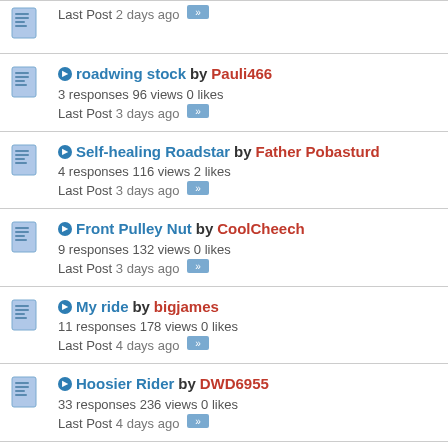Last Post 2 days ago
roadwing stock by Pauli466 | 3 responses 96 views 0 likes | Last Post 3 days ago
Self-healing Roadstar by Father Pobasturd | 4 responses 116 views 2 likes | Last Post 3 days ago
Front Pulley Nut by CoolCheech | 9 responses 132 views 0 likes | Last Post 3 days ago
My ride by bigjames | 11 responses 178 views 0 likes | Last Post 4 days ago
Hoosier Rider by DWD6955 | 33 responses 236 views 0 likes | Last Post 4 days ago
Installing a Batwing by ItBeMe | 2 responses 99 views 0 likes | Last Post 4 days ago
2008 Starter spins but not turning over engine by Roadstar_Rob